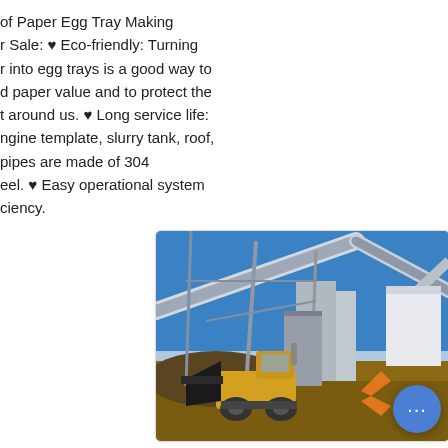of Paper Egg Tray Making r Sale: ♥ Eco-friendly: Turning r into egg trays is a good way to d paper value and to protect the t around us. ♥ Long service life: ngine template, slurry tank, roof, pipes are made of 304 eel. ♥ Easy operational system ciency.
[Figure (photo): Industrial quarry or mining site with conveyor belts, a yellow front loader/bulldozer operating on a dirt surface, steel framework structures, and a blue sky background. An orange chevron/arrow graphic and a blue chat button overlay are visible in the lower right.]